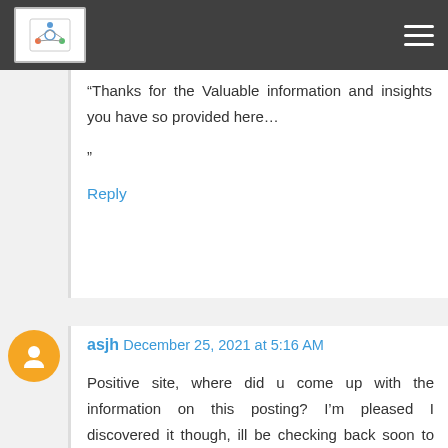“Thanks for the Valuable information and insights you have so provided here…

”
Reply
asjh December 25, 2021 at 5:16 AM
Positive site, where did u come up with the information on this posting? I’m pleased I discovered it though, ill be checking back soon to find out what additional posts you include Granny